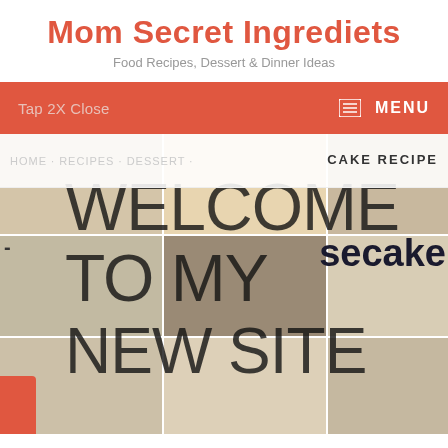Mom Secret Ingrediets
Food Recipes, Dessert & Dinner Ideas
Tap 2X Close   MENU
CAKE RECIPE
[Figure (photo): Food collage with text overlay: WELCOME TO MY NEW SITE, showing various food dishes and desserts in a grid layout]
secake